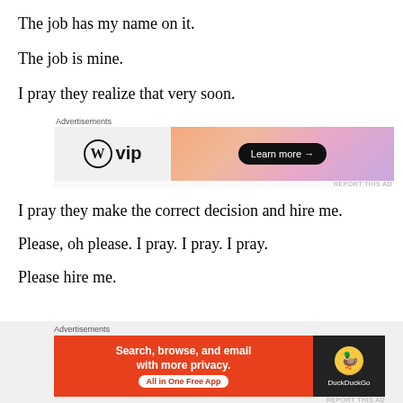The job has my name on it.
The job is mine.
I pray they realize that very soon.
[Figure (screenshot): WordPress VIP advertisement banner with 'Learn more →' button on orange gradient background]
I pray they make the correct decision and hire me.
Please, oh please. I pray. I pray. I pray.
Please hire me.
[Figure (screenshot): DuckDuckGo advertisement: 'Search, browse, and email with more privacy. All in One Free App' with duck logo on dark background]